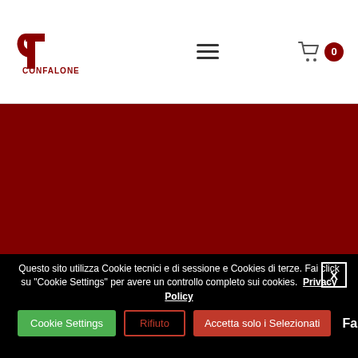CONFALONE — navigation bar with logo, hamburger menu, and cart icon with badge 0
[Figure (screenshot): Dark red/maroon hero banner area]
Questo sito utilizza Cookie tecnici e di sessione e Cookies di terze. Fai click su "Cookie Settings" per avere un controllo completo sui cookies. Privacy Policy
Cookie Settings  Rifiuto  Accetta solo i Selezionati  Fai